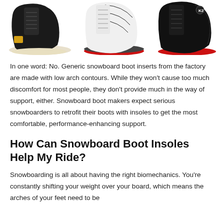[Figure (photo): Three snowboard boots shown side by side: a black boot with yellow accents on the left, a white boot with black and red stripes in the middle, and a black boot with red sole on the right.]
In one word: No. Generic snowboard boot inserts from the factory are made with low arch contours. While they won't cause too much discomfort for most people, they don't provide much in the way of support, either. Snowboard boot makers expect serious snowboarders to retrofit their boots with insoles to get the most comfortable, performance-enhancing support.
How Can Snowboard Boot Insoles Help My Ride?
Snowboarding is all about having the right biomechanics. You're constantly shifting your weight over your board, which means the arches of your feet need to be